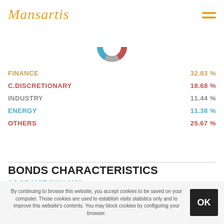Mansartis
[Figure (donut-chart): Sector allocation]
FINANCE  32.83 %
C.DISCRETIONARY  18.68 %
INDUSTRY  11.44 %
ENERGY  11.38 %
OTHERS  25.67 %
BONDS CHARACTERISTICS
AS OF 31ST JULY 2022
By continuing to browse this website, you accept cookies to be saved on your computer. Those cookies are used to establish visits statistics only and to improve this website's contents. You may block cookies by configuring your browser.